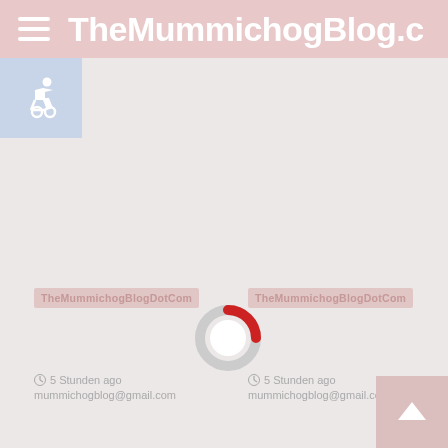TheMummichogBlog.com
[Figure (screenshot): Accessibility icon (wheelchair symbol) in a blue-grey box]
[Figure (other): Loading spinner - circular spinner with grey ring and red arc segment]
TheMummichogBlogDotCom
TheMummichogBlogDotCom
5 Stunden ago
mummichogblog@gmail.com
5 Stunden ago
mummichogblog@gmail.com